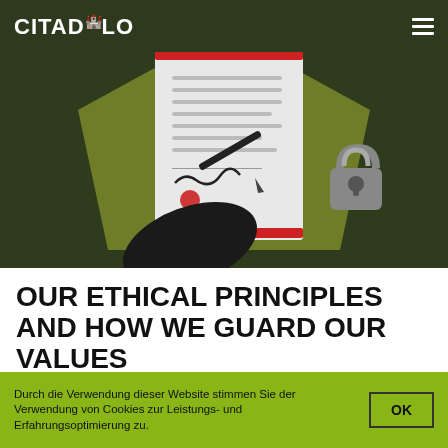CITADELO
[Figure (illustration): Illustration of a hand signing a document with a pen, a padlock icon on the right, a yellow-green pentagon shape in the background, all on a dark green background.]
OUR ETHICAL PRINCIPLES AND HOW WE GUARD OUR VALUES
Durch die Verwendung dieser Website stimmen Sie der Verwendung von Cookies zur Leistungs- und Erfahrungsoptimierung zu.